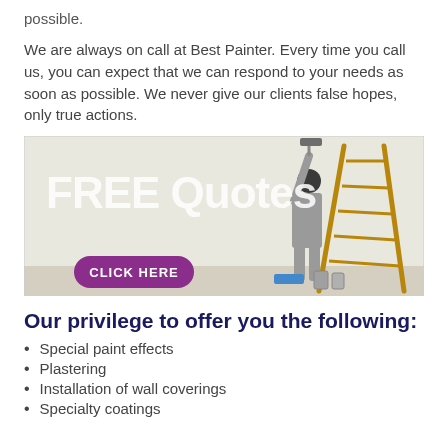possible.
We are always on call at Best Painter. Every time you call us, you can expect that we can respond to your needs as soon as possible. We never give our clients false hopes, only true actions.
[Figure (photo): Banner image showing a painter in grey coveralls painting a wall next to a wooden ladder. Large white text reads 'FREE Quotes' and a purple button reads 'CLICK HERE'.]
Our privilege to offer you the following:
Special paint effects
Plastering
Installation of wall coverings
Specialty coatings